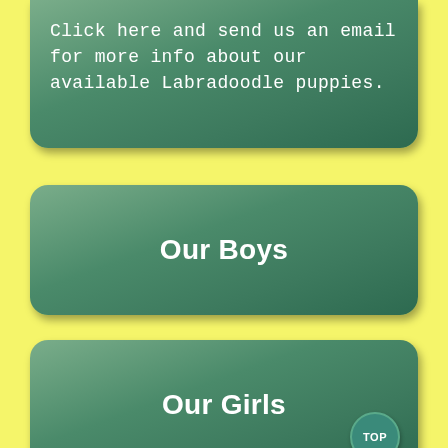Click here and send us an email for more info about our available Labradoodle puppies.
Our Boys
Our Girls